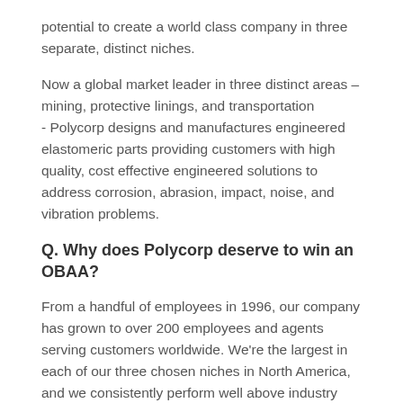potential to create a world class company in three separate, distinct niches.
Now a global market leader in three distinct areas – mining, protective linings, and transportation - Polycorp designs and manufactures engineered elastomeric parts providing customers with high quality, cost effective engineered solutions to address corrosion, abrasion, impact, noise, and vibration problems.
Q. Why does Polycorp deserve to win an OBAA?
From a handful of employees in 1996, our company has grown to over 200 employees and agents serving customers worldwide. We're the largest in each of our three chosen niches in North America, and we consistently perform well above industry standards.
In addition, we're constantly engineering new designs, developing new materials, and the best for